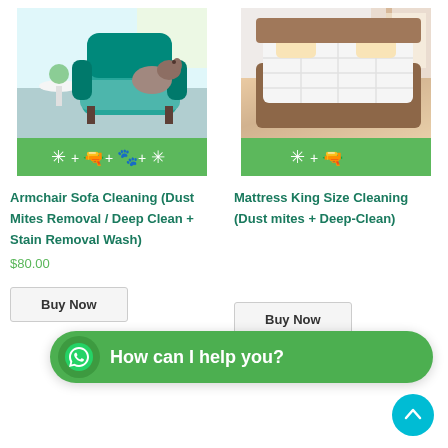[Figure (photo): Teal armchair with a dog sitting on it, in a living room setting. Green banner at bottom with white icons: dust mite + vacuum + paw + sparkle.]
Armchair Sofa Cleaning (Dust Mites Removal / Deep Clean + Stain Removal Wash)
$80.00
Buy Now
[Figure (photo): White mattress topper on a wooden bed frame in a bedroom. Green banner at bottom with white icons: dust mite + vacuum.]
Mattress King Size Cleaning (Dust mites + Deep-Clean)
Buy Now
[Figure (other): WhatsApp chat bubble overlay with text: How can I help you?]
[Figure (other): Cyan scroll-to-top arrow button in bottom right corner]